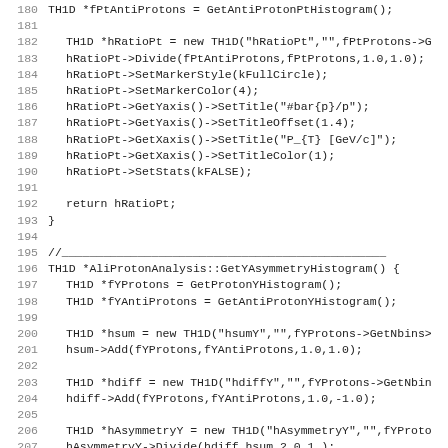Code listing lines 180-211, C++ source code for AliProtonAnalysis class methods
180   TH1D *fPtAntiProtons = GetAntiProtonPtHistogram();
181
182     TH1D *hRatioPt = new TH1D("hRatioPt","",fPtProtons->G
183     hRatioPt->Divide(fPtAntiProtons,fPtProtons,1.0,1.0);
184     hRatioPt->SetMarkerStyle(kFullCircle);
185     hRatioPt->SetMarkerColor(4);
186     hRatioPt->GetYaxis()->SetTitle("#bar{p}/p");
187     hRatioPt->GetYaxis()->SetTitleOffset(1.4);
188     hRatioPt->GetXaxis()->SetTitle("P_{T} [GeV/c]");
189     hRatioPt->GetXaxis()->SetTitleColor(1);
190     hRatioPt->SetStats(kFALSE);
191
192     return hRatioPt;
193 }
194
195 //______________________________________________
196 TH1D *AliProtonAnalysis::GetYAsymmetryHistogram() {
197     TH1D *fYProtons = GetProtonYHistogram();
198     TH1D *fYAntiProtons = GetAntiProtonYHistogram();
199
200     TH1D *hsum = new TH1D("hsumY","",fYProtons->GetNbins)
201     hsum->Add(fYProtons,fYAntiProtons,1.0,1.0);
202
203     TH1D *hdiff = new TH1D("hdiffY","",fYProtons->GetNbin
204     hdiff->Add(fYProtons,fYAntiProtons,1.0,-1.0);
205
206     TH1D *hAsymmetryY = new TH1D("hAsymmetryY","",fYProto
207     hAsymmetryY->Divide(hdiff,hsum,2.0,1.);
208     hAsymmetryY->SetMarkerStyle(kFullCircle);
209     hAsymmetryY->SetMarkerColor(4);
210     hAsymmetryY->GetYaxis()->SetTitle("A_{p}");
211     hAsymmetryY->GetYaxis()->SetTitleOffset(1.4);